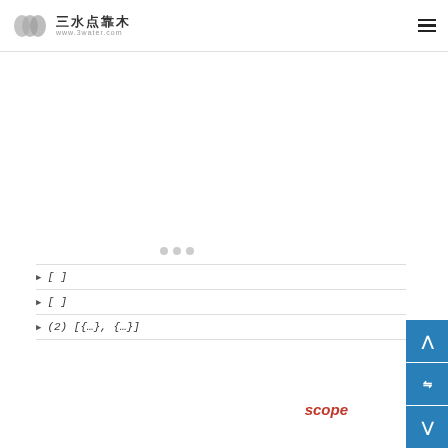三水点靠木 www.3water.com
[Figure (other): Loading placeholder with three gray dots]
▶ [ ]
▶ [ ]
▶ (2) [{…}, {…}]
scope